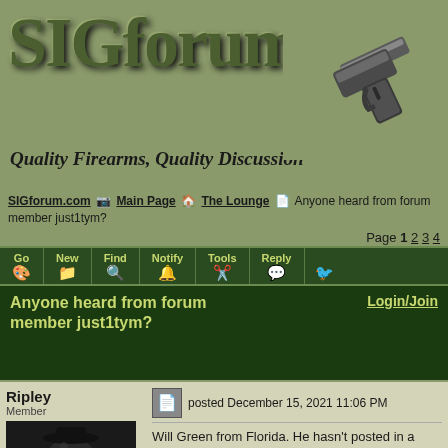[Figure (logo): SIGforum logo with large green metallic text 'SIGforum', subtitle 'Quality Firearms, Quality Discussion', and a handgun image on the right]
SIGforum.com > Main Page > The Lounge > Anyone heard from forum member just1tym?
Page 1 2 3 4
Anyone heard from forum member just1tym?
Login/Join
Ripley Member
posted December 15, 2021 11:06 PM
Will Green from Florida. He hasn't posted in a couple months, not responding to my emails. He contacted me a while back after I made a reference to losing our cat. We've emailed regularly since.